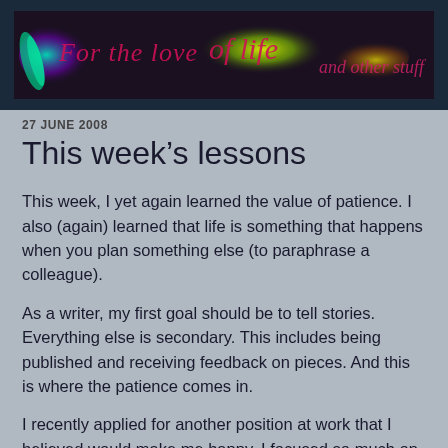[Figure (illustration): Blog header banner image with colorful swirling abstract art (green, yellow, purple) and cursive script text reading 'For the love of life - and other stuff' on a dark navy background]
27 JUNE 2008
This week’s lessons
This week, I yet again learned the value of patience. I also (again) learned that life is something that happens when you plan something else (to paraphrase a colleague).
As a writer, my first goal should be to tell stories. Everything else is secondary. This includes being published and receiving feedback on pieces. And this is where the patience comes in.
I recently applied for another position at work that I believed would make me happy. I focused so much on it, and blew it completely out of proportion in my mind (and just about detached from my current position because of it) that, when I